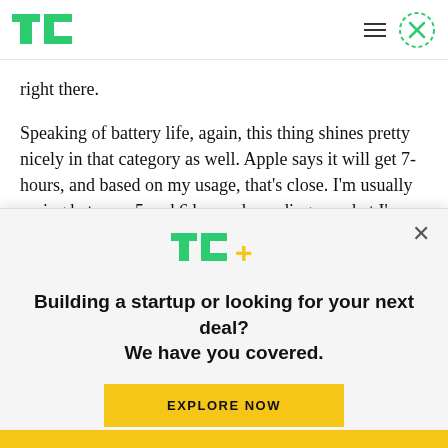TechCrunch logo, hamburger menu, close button
right there.
Speaking of battery life, again, this thing shines pretty nicely in that category as well. Apple says it will get 7-hours, and based on my usage, that’s close. I’m usually seeing between 5 and 6 hours depending on what I’m doing and screen
[Figure (logo): TC+ logo (TechCrunch Plus) in green and yellow]
Building a startup or looking for your next deal? We have you covered.
EXPLORE NOW